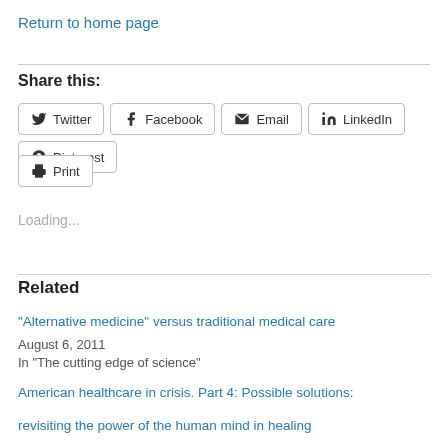Return to home page
Share this:
Twitter  Facebook  Email  LinkedIn  Pinterest  Print
Loading...
Related
“Alternative medicine” versus traditional medical care
August 6, 2011
In “The cutting edge of science”
American healthcare in crisis. Part 4: Possible solutions: revisiting the power of the human mind in healing